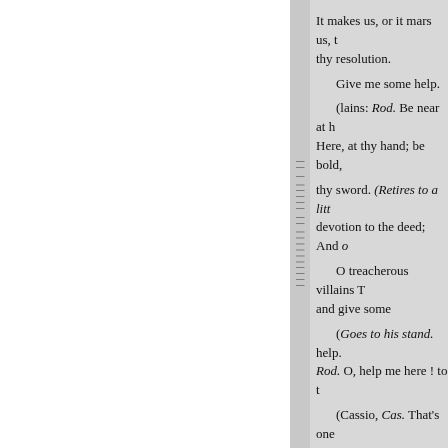It makes us, or it mars us, think on that, And fix most firm thy resolution.
Give me some help.
(lains: Rod. Be near at hand; I may miscarry in't. Iago. Here, at thy hand; be bold, and take thy stand.
thy sword. (Retires to a little distance.) Rod. I have no great devotion to the deed; And yet he hath given me satisfying reasons:
O treacherous villains! (To Lodovico and Gratiano.) What are you there? come in, and give some help.
(Goes to his stand. help. Rod. O, help me here! to the watch. O Rod. O, help me here ! to the watch. O Rod. O, help me here ! to t
(Cassio, Cas. That's one of them.
Iago.
O murderous slave! O villain!
(Lago stabs ROVERIGO. Even now, now, very now. dog !-He calls me to a restitution
0!0! 01 Of gold, and jeweis, th
o Desdemona;